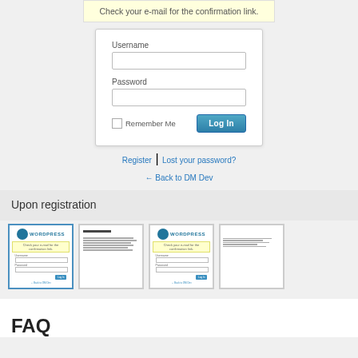Check your e-mail for the confirmation link.
[Figure (screenshot): Login form with Username and Password fields, Remember Me checkbox, and Log In button]
Register | Lost your password?
← Back to DM Dev
Upon registration
[Figure (screenshot): Four thumbnail screenshots showing WordPress registration/login pages]
FAQ